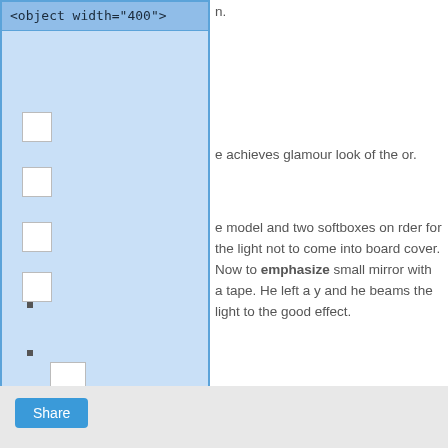[Figure (screenshot): A blue-highlighted panel showing an HTML object embed element: <object width="400"> with several small white rectangles representing nested elements or controls inside the object panel.]
e achieves glamour look of the or.
e model and two softboxes on rder for the light not to come into board cover. Now to emphasize small mirror with a tape. He left a y and he beams the light to the good effect.
[Figure (screenshot): A Share button in blue on a gray background bar at the bottom of the page.]